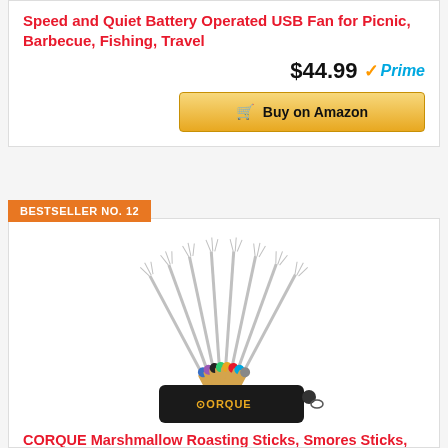Speed and Quiet Battery Operated USB Fan for Picnic, Barbecue, Fishing, Travel
$44.99 Prime
[Figure (other): Buy on Amazon button with shopping cart icon]
BESTSELLER NO. 12
[Figure (photo): CORQUE Marshmallow Roasting Sticks set of 8 with wooden handles and colorful rings, fanned out above a black CORQUE branded carrying bag]
CORQUE Marshmallow Roasting Sticks, Smores Sticks, Extendable, Camping Skewer for Fire Pit, Wooden Handle,